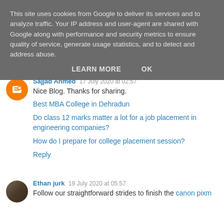This site uses cookies from Google to deliver its services and to analyze traffic. Your IP address and user-agent are shared with Google along with performance and security metrics to ensure quality of service, generate usage statistics, and to detect and address abuse.
LEARN MORE    OK
Sajjad Ahmed  17 July 2020 at 02:57
Nice Blog. Thanks for sharing.
Best MBA College in Dehradun
Do class 12 marks matter a lot for a job placement in engineering companies?
How do I prepare for college placement session?
Reply
Ethan jurk  19 July 2020 at 05:57
Follow our straightforward strides to finish the canon pixm...